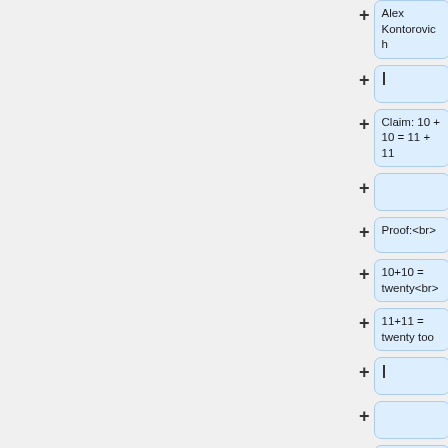Alex Kontorovich
Claim: 10 + 10 = 11 + 11
Proof:<br>
10+10 = twenty<br>
11+11 = twenty too
== Curing the Common Cold==